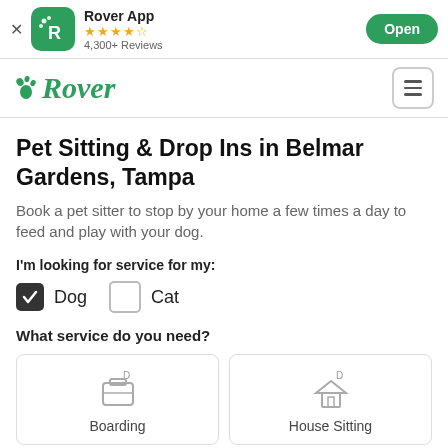Rover App — 4,300+ Reviews — Open
[Figure (logo): Rover app logo with green paw and R icon, star rating, and Open button]
[Figure (logo): Rover navigation bar with green Rover logo and hamburger menu]
Pet Sitting & Drop Ins in Belmar Gardens, Tampa
Book a pet sitter to stop by your home a few times a day to feed and play with your dog.
I'm looking for service for my:
Dog (checked), Cat (unchecked)
What service do you need?
Boarding
House Sitting